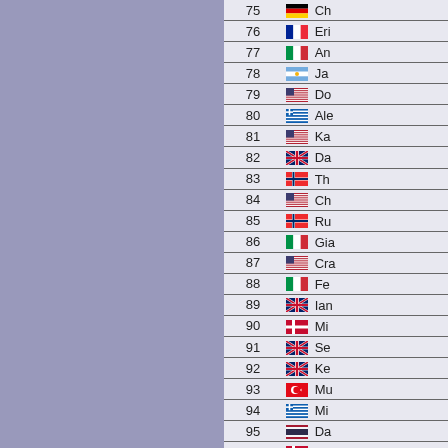| Rank | Flag | Player |
| --- | --- | --- |
| 75 | Germany | Ch |
| 76 | France | Eri |
| 77 | Italy | An |
| 78 | Argentina | Ja |
| 79 | USA | Do |
| 80 | Greece | Ale |
| 81 | USA | Ka |
| 82 | Great Britain | Da |
| 83 | Norway | Th |
| 84 | USA | Ch |
| 85 | Norway | Ru |
| 86 | Italy | Gia |
| 87 | USA | Cra |
| 88 | Italy | Fe |
| 89 | Great Britain | Ian |
| 90 | Denmark | Mi |
| 91 | Great Britain | Se |
| 92 | Great Britain | Ke |
| 93 | Turkey | Mu |
| 94 | Greece | Mi |
| 95 | Thailand | Da |
| 96 | Denmark | Th |